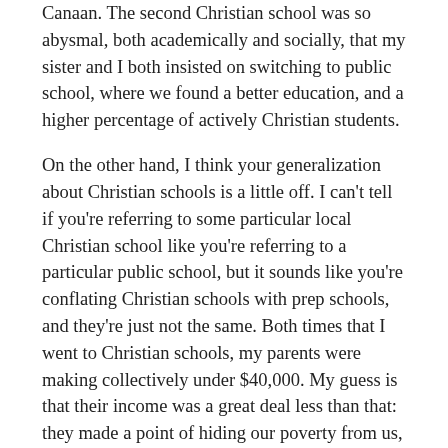Canaan. The second Christian school was so abysmal, both academically and socially, that my sister and I both insisted on switching to public school, where we found a better education, and a higher percentage of actively Christian students.
On the other hand, I think your generalization about Christian schools is a little off. I can't tell if you're referring to some particular local Christian school like you're referring to a particular public school, but it sounds like you're conflating Christian schools with prep schools, and they're just not the same. Both times that I went to Christian schools, my parents were making collectively under $40,000. My guess is that their income was a great deal less than that: they made a point of hiding our poverty from us, so we didn't hear much about fears of financial